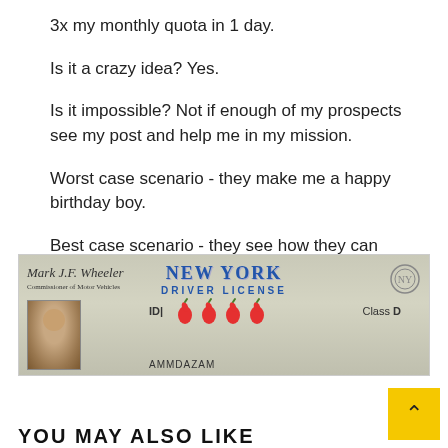3x my monthly quota in 1 day.
Is it a crazy idea? Yes.
Is it impossible? Not if enough of my prospects see my post and help me in my mission.
Worst case scenario - they make me a happy birthday boy.
Best case scenario - they see how they can double their inbound conversion rate with Chili Piper, get promoted in the process, AND make me a happy birthday boy.
Win-Win.
[Figure (photo): A New York Driver License with chili pepper emojis displayed next to the ID field, and a portrait photo on the left side. The name field shows AMMDAZAM.]
YOU MAY ALSO LIKE